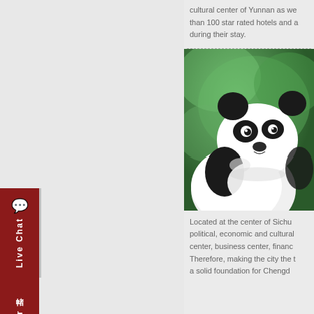cultural center of Yunnan as we... than 100 star rated hotels and a... during their stay.
[Figure (photo): Close-up photograph of a giant panda against a green bokeh background]
Located at the center of Sichu... political, economic and cultural... center, business center, financ... Therefore, making the city the t... a solid foundation for Chengd...